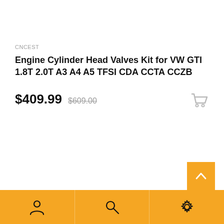CNCEST
Engine Cylinder Head Valves Kit for VW GTI 1.8T 2.0T A3 A4 A5 TFSI CDA CCTA CCZB
$409.99  $609.00
[Figure (screenshot): Shopping cart icon in gray, top right of listing]
[Figure (infographic): Back to top button - orange square with white upward chevron arrow]
[Figure (infographic): Bottom navigation bar with three orange sections: person/account icon, search/magnifying glass icon, settings/gear icon]